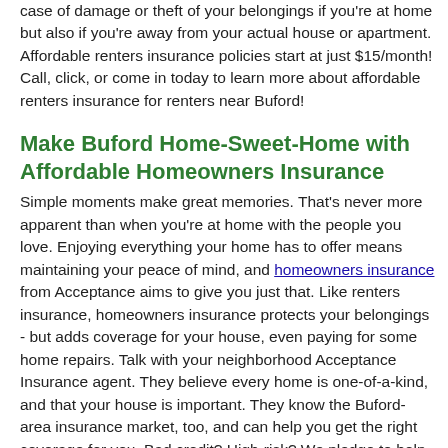case of damage or theft of your belongings if you're at home but also if you're away from your actual house or apartment. Affordable renters insurance policies start at just $15/month! Call, click, or come in today to learn more about affordable renters insurance for renters near Buford!
Make Buford Home-Sweet-Home with Affordable Homeowners Insurance
Simple moments make great memories. That's never more apparent than when you're at home with the people you love. Enjoying everything your home has to offer means maintaining your peace of mind, and homeowners insurance from Acceptance aims to give you just that. Like renters insurance, homeowners insurance protects your belongings - but adds coverage for your house, even paying for some home repairs. Talk with your neighborhood Acceptance Insurance agent. They believe every home is one-of-a-kind, and that your house is important. They know the Buford-area insurance market, too, and can help you get the right coverage for you. Bad credit? High-risk? We pledge to help you get the best home insurance coverage for a price you can afford.